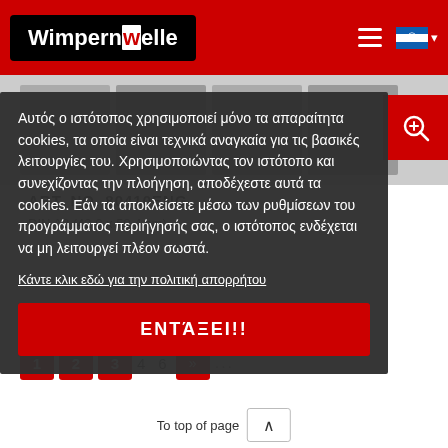[Figure (screenshot): Wimpernwelle website header with red background, black logo box with white 'Wimpernwelle' text, hamburger menu icon, and Greek flag language selector]
ART. NO. 80410ENG
DIN A2 (42,0 x 59,4 cm)
Αυτός ο ιστότοπος χρησιμοποιεί μόνο τα απαραίτητα cookies, τα οποία είναι τεχνικά αναγκαία για τις βασικές λειτουργίες του. Χρησιμοποιώντας τον ιστότοπο και συνεχίζοντας την πλοήγηση, αποδέχεστε αυτά τα cookies. Εάν τα αποκλείσετε μέσω των ρυθμίσεων του προγράμματος περιήγησής σας, ο ιστότοπος ενδέχεται να μη λειτουργεί πλέον σωστά.
Κάντε κλικ εδώ για την πολιτική απορρήτου
ΕΝΤΆΞΕΙ!!
To top of page